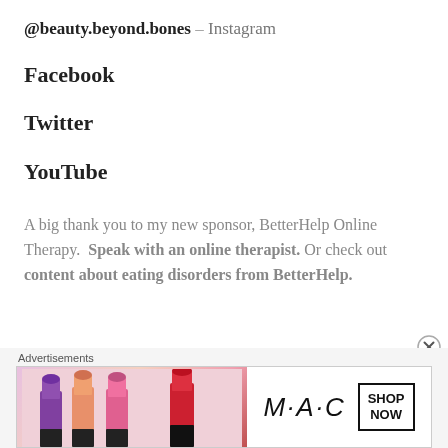@beauty.beyond.bones – Instagram
Facebook
Twitter
YouTube
A big thank you to my new sponsor, BetterHelp Online Therapy.  Speak with an online therapist.  Or check out content about eating disorders from BetterHelp.
[Figure (other): MAC cosmetics advertisement banner showing lipsticks and 'SHOP NOW' button]
Advertisements